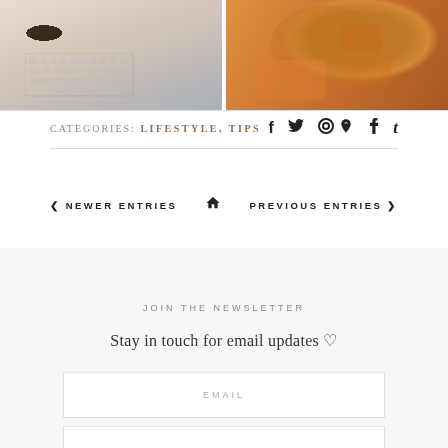[Figure (photo): Two side-by-side lifestyle photos: left shows a coffee/food scene with a keyboard, right shows orange/amber beauty products and cosmetics]
CATEGORIES: LIFESTYLE, TIPS
Social icons: Facebook, Twitter, Pinterest, Tumblr
< NEWER ENTRIES   🏠   PREVIOUS ENTRIES >
JOIN THE NEWSLETTER
Stay in touch for email updates ♡
EMAIL